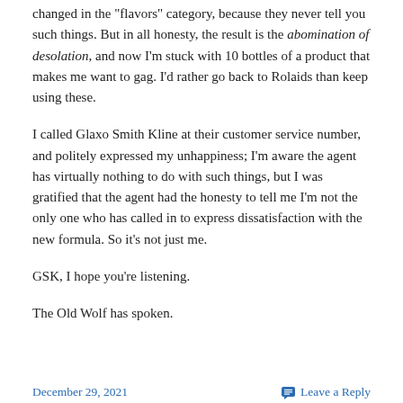changed in the "flavors" category, because they never tell you such things. But in all honesty, the result is the abomination of desolation, and now I'm stuck with 10 bottles of a product that makes me want to gag. I'd rather go back to Rolaids than keep using these.
I called Glaxo Smith Kline at their customer service number, and politely expressed my unhappiness; I'm aware the agent has virtually nothing to do with such things, but I was gratified that the agent had the honesty to tell me I'm not the only one who has called in to express dissatisfaction with the new formula. So it's not just me.
GSK, I hope you're listening.
The Old Wolf has spoken.
December 29, 2021   Leave a Reply